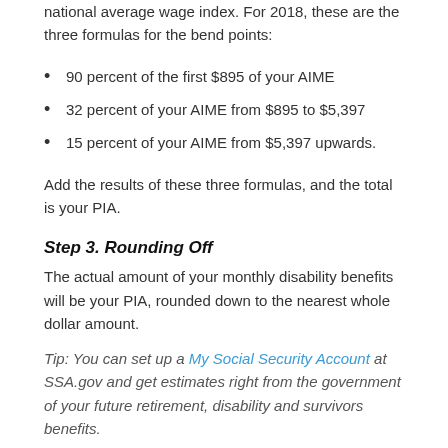national average wage index. For 2018, these are the three formulas for the bend points:
90 percent of the first $895 of your AIME
32 percent of your AIME from $895 to $5,397
15 percent of your AIME from $5,397 upwards.
Add the results of these three formulas, and the total is your PIA.
Step 3. Rounding Off
The actual amount of your monthly disability benefits will be your PIA, rounded down to the nearest whole dollar amount.
Tip: You can set up a My Social Security Account at SSA.gov and get estimates right from the government of your future retirement, disability and survivors benefits.
SSI Benefits Calculator – How Is SSI Calculated?